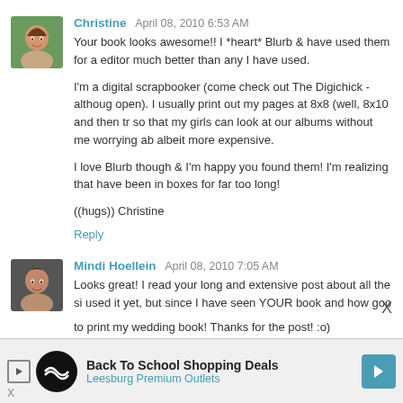[Figure (photo): Avatar photo of Christine, a woman with brown hair against a green background]
Christine  April 08, 2010 6:53 AM
Your book looks awesome!! I *heart* Blurb & have used them for a editor much better than any I have used.

I'm a digital scrapbooker (come check out The Digichick - althoug open). I usually print out my pages at 8x8 (well, 8x10 and then tr so that my girls can look at our albums without me worrying ab albeit more expensive.

I love Blurb though & I'm happy you found them! I'm realizing that have been in boxes for far too long!

((hugs)) Christine
Reply
[Figure (photo): Avatar photo of Mindi Hoellein, a woman with dark hair]
Mindi Hoellein  April 08, 2010 7:05 AM
Looks great! I read your long and extensive post about all the si used it yet, but since I have seen YOUR book and how goo to print my wedding book! Thanks for the post! :o)
[Figure (infographic): Advertisement banner: Back To School Shopping Deals - Leesburg Premium Outlets]